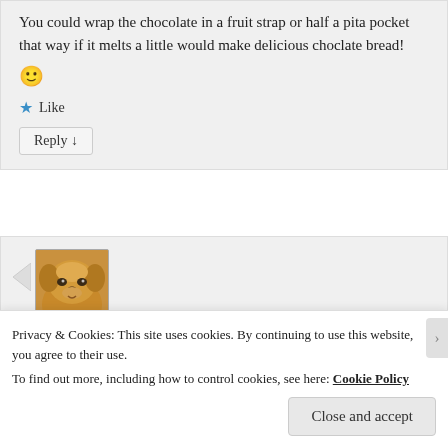You could wrap the chocolate in a fruit strap or half a pita pocket that way if it melts a little would make delicious choclate bread!
[Figure (illustration): Smiley face emoji 🙂]
★ Like
Reply ↓
[Figure (photo): Photo of a golden retriever dog lying down, viewed from slightly above, resting its head and paws on a surface.]
Privacy & Cookies: This site uses cookies. By continuing to use this website, you agree to their use. To find out more, including how to control cookies, see here: Cookie Policy
Close and accept